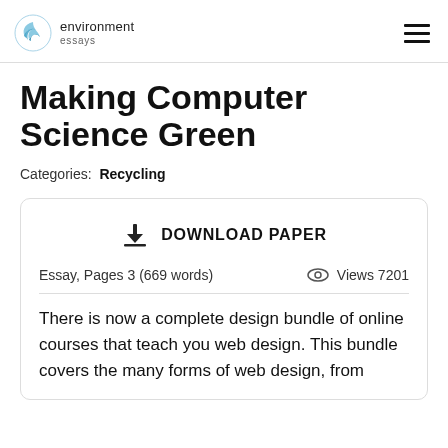environment essays
Making Computer Science Green
Categories: Recycling
DOWNLOAD PAPER
Essay, Pages 3 (669 words)   Views 7201
There is now a complete design bundle of online courses that teach you web design. This bundle covers the many forms of web design, from